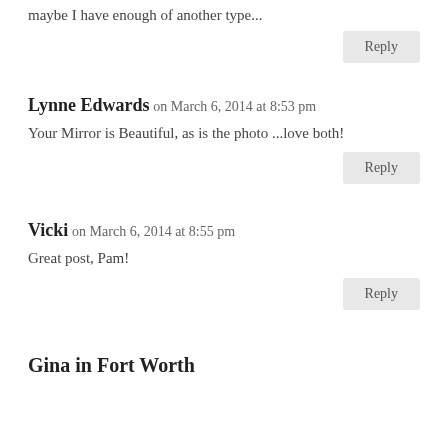maybe I have enough of another type...
Reply
Lynne Edwards on March 6, 2014 at 8:53 pm
Your Mirror is Beautiful, as is the photo ...love both!
Reply
Vicki on March 6, 2014 at 8:55 pm
Great post, Pam!
Reply
Gina in Fort Worth